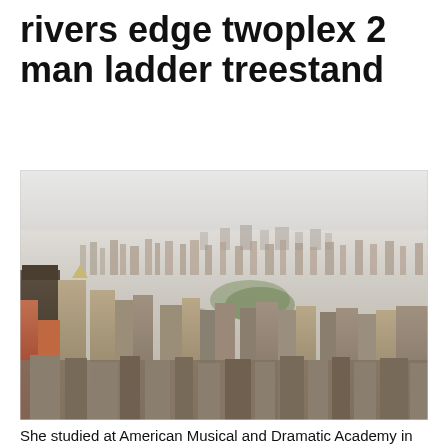rivers edge twoplex 2 man ladder treestand
[Figure (photo): Aerial photograph of Manhattan, New York City skyline showing dense skyscrapers including Central Park in the middle distance, taken from a high vantage point with hazy sky in background.]
She studied at American Musical and Dramatic Academy in Manhattan for two years, then moved